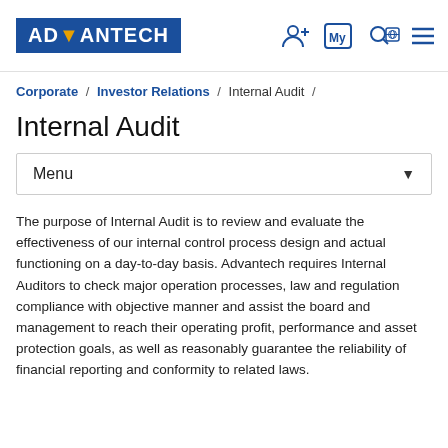Advantech | Internal Audit
Corporate / Investor Relations / Internal Audit /
Internal Audit
Menu
The purpose of Internal Audit is to review and evaluate the effectiveness of our internal control process design and actual functioning on a day-to-day basis. Advantech requires Internal Auditors to check major operation processes, law and regulation compliance with objective manner and assist the board and management to reach their operating profit, performance and asset protection goals, as well as reasonably guarantee the reliability of financial reporting and conformity to related laws.